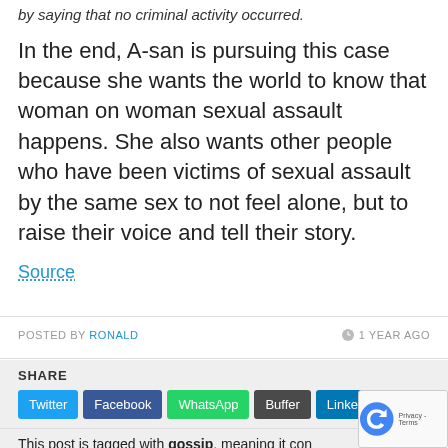by saying that no criminal activity occurred.
In the end, A-san is pursuing this case because she wants the world to know that woman on woman sexual assault happens. She also wants other people who have been victims of sexual assault by the same sex to not feel alone, but to raise their voice and tell their story.
Source
POSTED BY RONALD   1 YEAR AGO
SHARE
Twitter Facebook WhatsApp Buffer LinkedIn Pin It
This post is tagged with gossip, meaning it contains information that is purely speculation.